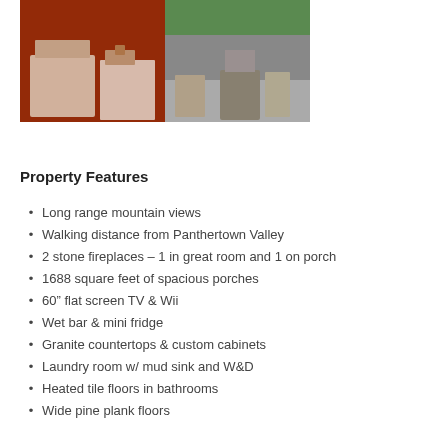[Figure (photo): Two property photos side by side: left shows a bathroom with red walls and toilet/vanity; right shows an outdoor deck/porch with stone fireplace and rocking chairs]
Property Features
Long range mountain views
Walking distance from Panthertown Valley
2 stone fireplaces – 1 in great room and 1 on porch
1688 square feet of spacious porches
60" flat screen TV & Wii
Wet bar & mini fridge
Granite countertops & custom cabinets
Laundry room w/ mud sink and W&D
Heated tile floors in bathrooms
Wide pine plank floors